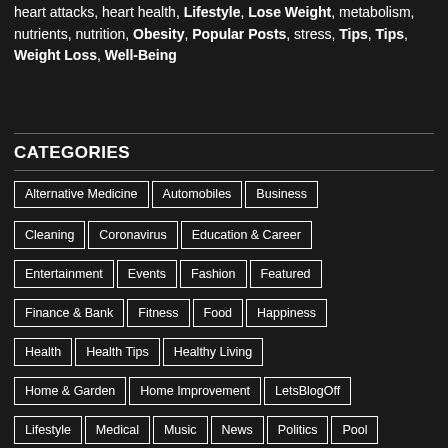heart attacks, heart health, Lifestyle, Lose Weight, metabolism, nutrients, nutrition, Obesity, Popular Posts, stress, Tips, Tips, Weight Loss, Well-Being
CATEGORIES
Alternative Medicine
Automobiles
Business
Cleaning
Coronavirus
Education & Career
Entertainment
Events
Fashion
Featured
Finance & Bank
Fitness
Food
Happiness
Health
Health Tips
Healthy Living
Home & Garden
Home Improvement
LetsBlogOff
Lifestyle
Medical
Music
News
Politics
Pool
Popular Posts
Psychology
Science
Sport
Technology
Tips
Tour & Travel
Weight Loss
Well-Being